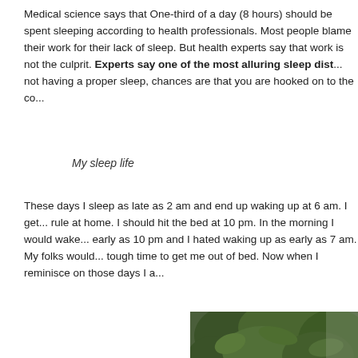Medical science says that One-third of a day (8 hours) should be spent sleeping according to health professionals. Most people blame their work for their lack of sleep. But health experts say that work is not the culprit. Experts say one of the most alluring sleep dist... not having a proper sleep, chances are that you are hooked on to the co...
My sleep life
These days I sleep as late as 2 am and end up waking up at 6 am. I get... rule at home. I should hit the bed at 10 pm. In the morning I would wake... early as 10 pm and I hated waking up as early as 7 am. My folks would... tough time to get me out of bed. Now when I reminisce on those days I a...
[Figure (photo): A family photograph showing a man in a light shirt, a woman in a purple/pink sari, and a young boy smiling, standing outdoors in front of green mango trees.]